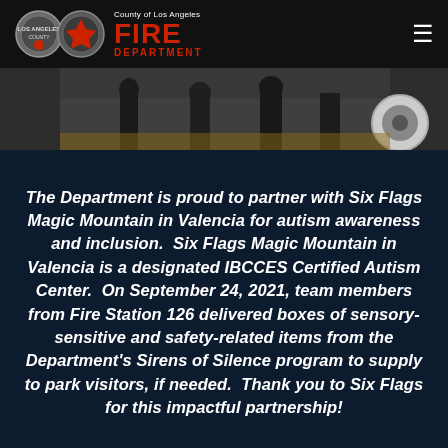County of Los Angeles FIRE DEPARTMENT
[Figure (photo): Partial photo showing people standing near a vehicle at Six Flags Magic Mountain event]
The Department is proud to partner with Six Flags Magic Mountain in Valencia for autism awareness and inclusion. Six Flags Magic Mountain in Valencia is a designated IBCCES Certified Autism Center. On September 24, 2021, team members from Fire Station 126 delivered boxes of sensory-sensitive and safety-related items from the Department's Sirens of Silence program to supply to park visitors, if needed. Thank you to Six Flags for this impactful partnership!